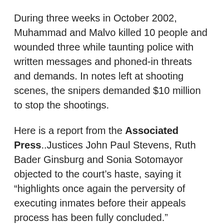During three weeks in October 2002, Muhammad and Malvo killed 10 people and wounded three while taunting police with written messages and phoned-in threats and demands. In notes left at shooting scenes, the snipers demanded $10 million to stop the shootings.
Here is a report from the Associated Press..Justices John Paul Stevens, Ruth Bader Ginsburg and Sonia Sotomayor objected to the court’s haste, saying it “highlights once again the perversity of executing inmates before their appeals process has been fully concluded.”
Stevens, writing for the three, said Virginia had short-circuited the process by scheduling Muhammad’s execution for Tuesday night, earlier than the court would